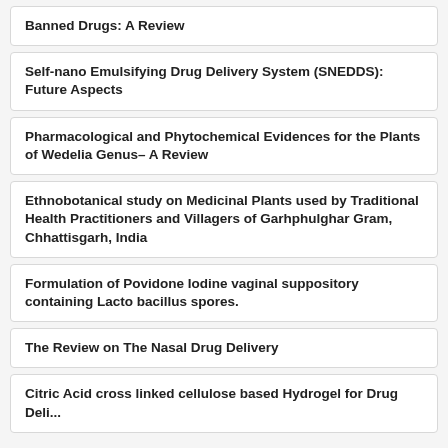Banned Drugs: A Review
Self-nano Emulsifying Drug Delivery System (SNEDDS): Future Aspects
Pharmacological and Phytochemical Evidences for the Plants of Wedelia Genus– A Review
Ethnobotanical study on Medicinal Plants used by Traditional Health Practitioners and Villagers of Garhphulghar Gram, Chhattisgarh, India
Formulation of Povidone Iodine vaginal suppository containing Lacto bacillus spores.
The Review on The Nasal Drug Delivery
Citric Acid cross linked cellulose based Hydrogel for Drug Deli...